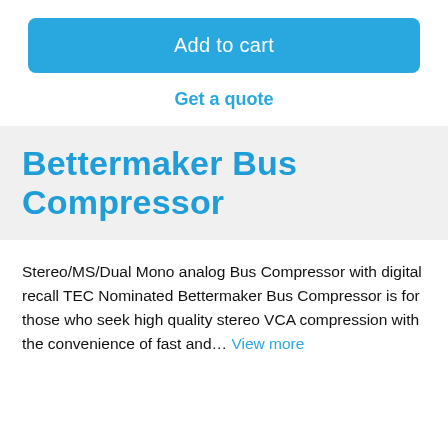Add to cart
Get a quote
Bettermaker Bus Compressor
Stereo/MS/Dual Mono analog Bus Compressor with digital recall TEC Nominated Bettermaker Bus Compressor is for those who seek high quality stereo VCA compression with the convenience of fast and... View more